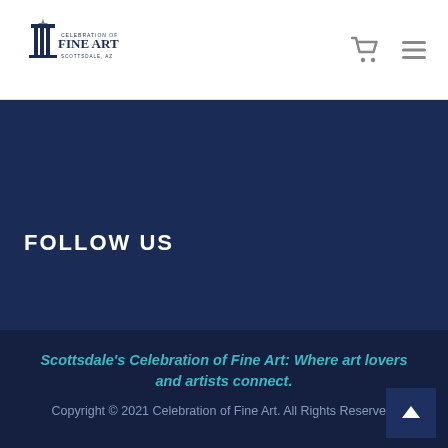Celebration of Fine Art
FOLLOW US
Scottsdale's Celebration of Fine Art: Where art lovers and artists connect.
Copyright © 2021 Celebration of Fine Art. All Rights Reserved.